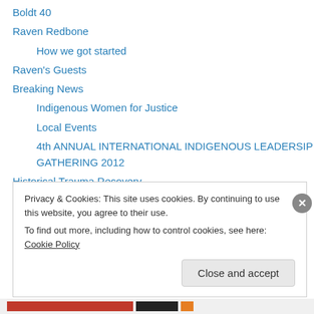Boldt 40
Raven Redbone
How we got started
Raven's Guests
Breaking News
Indigenous Women for Justice
Local Events
4th ANNUAL INTERNATIONAL INDIGENOUS LEADERSIP GATHERING 2012
Historical Trauma Recovery
Indigenous Links
Raven's Podcast Shows
More Podcasts
Privacy & Cookies: This site uses cookies. By continuing to use this website, you agree to their use. To find out more, including how to control cookies, see here: Cookie Policy